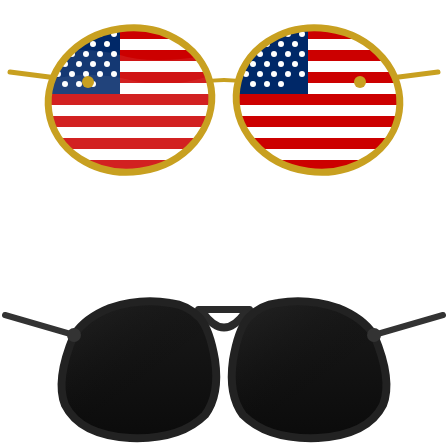[Figure (illustration): Two pairs of aviator sunglasses. Top pair: gold-framed aviator sunglasses with lenses showing the American flag (stars and stripes in red, white, and blue). Bottom pair: classic black-framed aviator sunglasses with solid dark/black lenses.]